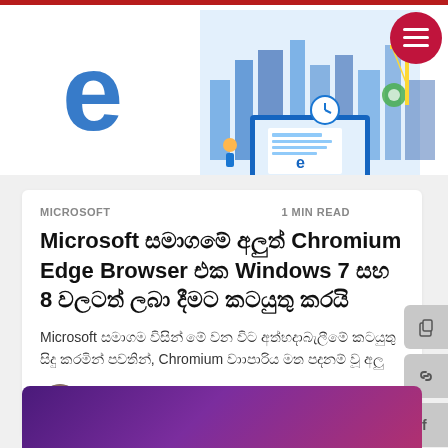[Figure (illustration): Website banner with Microsoft Edge logo (blue 'e') on the left, a blue tech cityscape illustration with laptop, buildings, gears, and construction crane, and a red hamburger menu button on the top right.]
MICROSOFT
1 MIN READ
Microsoft සමාගමේ අලුත් Chromium Edge Browser එක Windows 7 සහ 8 වලටත් ලබා දීමට කටයුතු කරයි
Microsoft සමාගම විසින් මේ වන විට අත්හදාබැලීමේ කටයුතු සිදු කරමින් පවතින්, Chromium වාාපාරිය මත පදනම් වූ අලු
වසර 3කට පෙර
[Figure (illustration): Purple-to-pink gradient card at the bottom of the page, partially visible.]